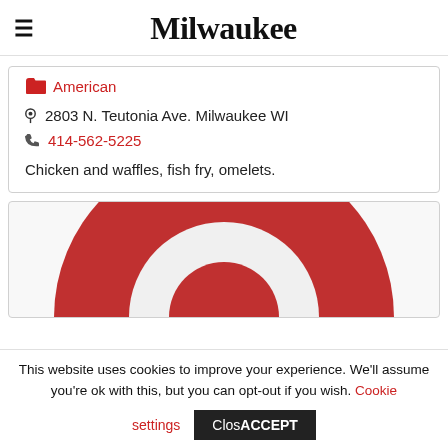Milwaukee
American
2803 N. Teutonia Ave. Milwaukee WI
414-562-5225
Chicken and waffles, fish fry, omelets.
[Figure (logo): Red circular logo partially visible, appears to be a donut or ring shape in red and white]
This website uses cookies to improve your experience. We'll assume you're ok with this, but you can opt-out if you wish. Cookie settings Close ACCEPT